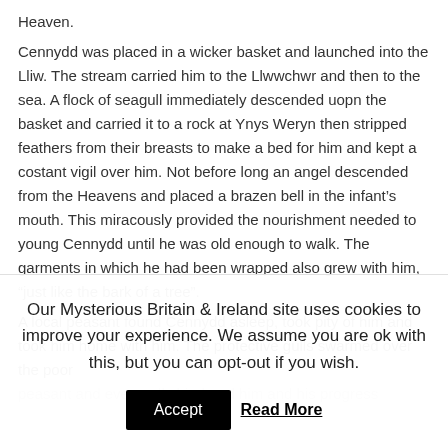Heaven.
Cennydd was placed in a wicker basket and launched into the Lliw. The stream carried him to the Llwwchwr and then to the sea. A flock of seagull immediately descended uopn the basket and carried it to a rock at Ynys Weryn then stripped feathers from their breasts to make a bed for him and kept a costant vigil over him. Not before long an angel descended from the Heavens and placed a brazen bell in the infant's mouth. This miracously provided the nourishment needed to young Cennydd until he was old enough to walk. The garments in which he had been wrapped also grew with him, “just like the bark of a tree”.
A local peasant found Cennydd asleep, took pity of him and took him home with him. The protective gulls swarmed over the poor
Our Mysterious Britain & Ireland site uses cookies to improve your experience. We assume you are ok with this, but you can opt-out if you wish.